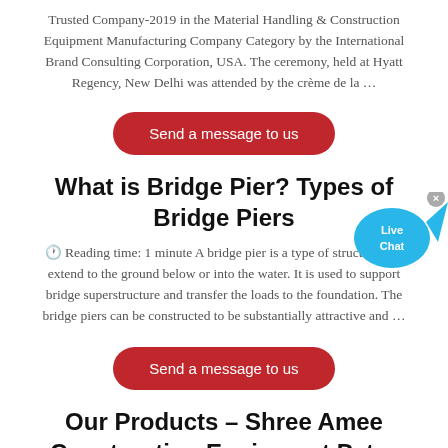Trusted Company-2019 in the Material Handling & Construction Equipment Manufacturing Company Category by the International Brand Consulting Corporation, USA. The ceremony, held at Hyatt Regency, New Delhi was attended by the crème de la …
Send a message to us
What is Bridge Pier? Types of Bridge Piers
🕐 Reading time: 1 minute A bridge pier is a type of structure that extend to the ground below or into the water. It is used to support bridge superstructure and transfer the loads to the foundation. The bridge piers can be constructed to be substantially attractive and …
Send a message to us
Our Products – Shree Amee Construction Equipment Pvt ...